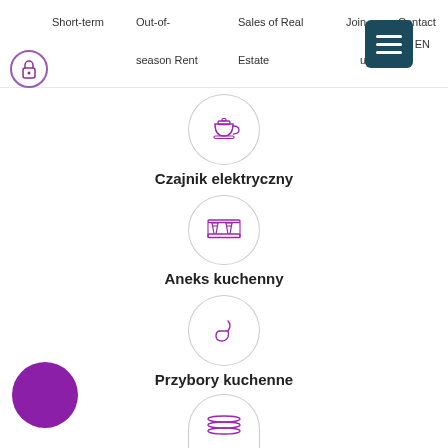Short-term | Out-of-season Rent | Sales of Real Estate | Join us | Contact | EN
[Figure (illustration): Purple kettle icon in a light circle]
Czajnik elektryczny
[Figure (illustration): Purple kitchen counter/kitchenette icon in a light circle]
Aneks kuchenny
[Figure (illustration): Purple ladle icon in a light circle]
Przybory kuchenne
[Figure (illustration): Purple stack/layers icon in a light circle (partially visible)]